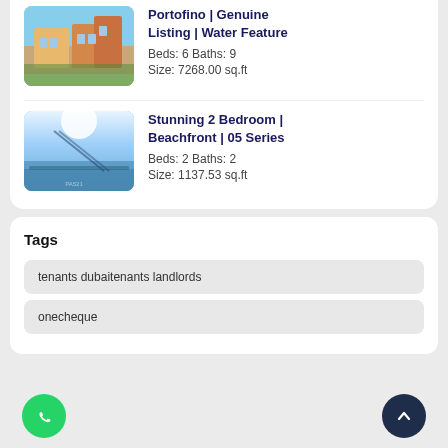Portofino | Genuine Listing | Water Feature
Beds: 6 Baths: 9
Size: 7268.00 sq.ft
Stunning 2 Bedroom | Beachfront | 05 Series
Beds: 2 Baths: 2
Size: 1137.53 sq.ft
Tags
tenants dubaitenants landlords
onecheque